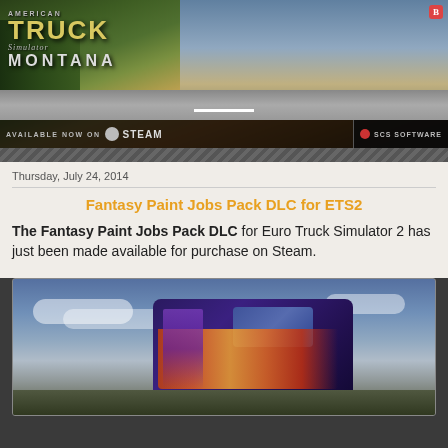[Figure (photo): American Truck Simulator Montana DLC banner — a truck on a mountain highway with text 'American Truck Simulator Montana Available Now on Steam' and SCS Software branding]
Thursday, July 24, 2014
Fantasy Paint Jobs Pack DLC for ETS2
The Fantasy Paint Jobs Pack DLC for Euro Truck Simulator 2 has just been made available for purchase on Steam.
[Figure (photo): Screenshot of a MAN truck with fantasy/dragon flame paint job in Euro Truck Simulator 2]